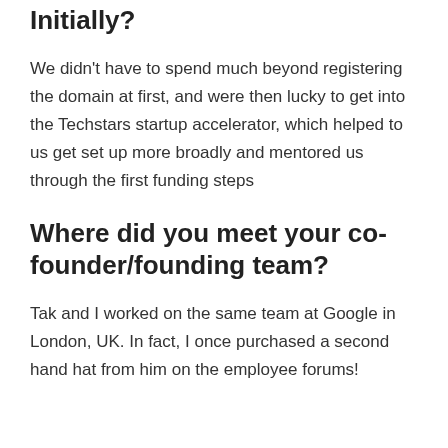Initially?
We didn't have to spend much beyond registering the domain at first, and were then lucky to get into the Techstars startup accelerator, which helped to us get set up more broadly and mentored us through the first funding steps
Where did you meet your co-founder/founding team?
Tak and I worked on the same team at Google in London, UK. In fact, I once purchased a second hand hat from him on the employee forums!